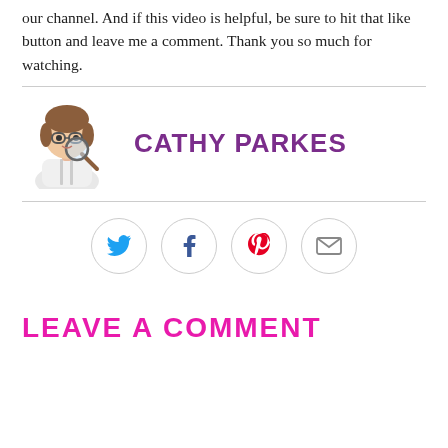our channel. And if this video is helpful, be sure to hit that like button and leave me a comment. Thank you so much for watching.
[Figure (illustration): Bitmoji-style cartoon avatar of a woman with brown hair and glasses holding a magnifying glass, wearing a white coat]
CATHY PARKES
[Figure (other): Social share buttons row: Twitter (bird icon, blue), Facebook (f icon, dark), Pinterest (p icon, red), Email (envelope icon, gray) — each in a light gray circle outline]
LEAVE A COMMENT